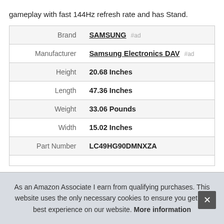gameplay with fast 144Hz refresh rate and has Stand.
| Label | Value |
| --- | --- |
| Brand | SAMSUNG #ad |
| Manufacturer | Samsung Electronics DAV #ad |
| Height | 20.68 Inches |
| Length | 47.36 Inches |
| Weight | 33.06 Pounds |
| Width | 15.02 Inches |
| Part Number | LC49HG90DMNXZA |
As an Amazon Associate I earn from qualifying purchases. This website uses the only necessary cookies to ensure you get the best experience on our website. More information